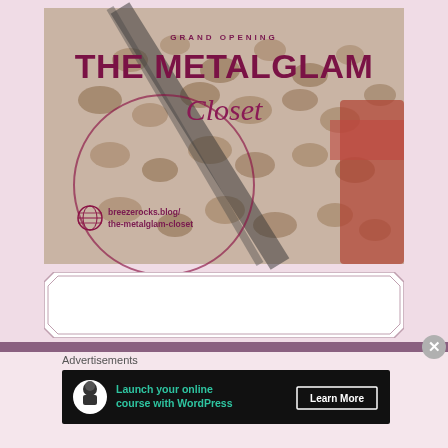[Figure (illustration): Grand opening promotional banner for The Metalglam Closet. Shows leopard print clothing/fabric in background with text overlay. URL breezerocks.blog/the-metalglam-closet shown at bottom left with globe icon. Circular decorative border overlay on left side.]
[Figure (other): White octagonal-cut card/frame below the main banner image, partially visible]
Advertisements
[Figure (other): Advertisement banner: dark background with teal tree/person icon in white circle, teal text 'Launch your online course with WordPress', white 'Learn More' CTA button]